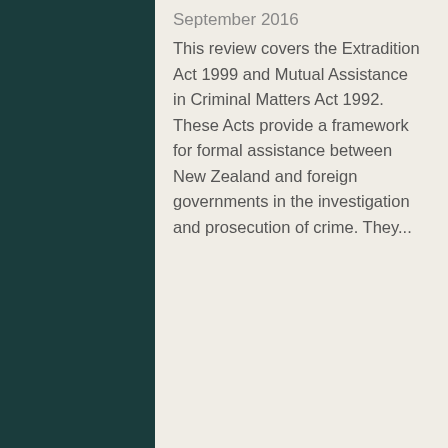September 2016
This review covers the Extradition Act 1999 and Mutual Assistance in Criminal Matters Act 1992. These Acts provide a framework for formal assistance between New Zealand and foreign governments in the investigation and prosecution of crime. They...
Alternative Models for Prosecuting and Trying Criminal Cases
Project status: Closed | Start date 01 July 2009 | Last updated 15 June 2016
This project arose from the Commission's recommendation in